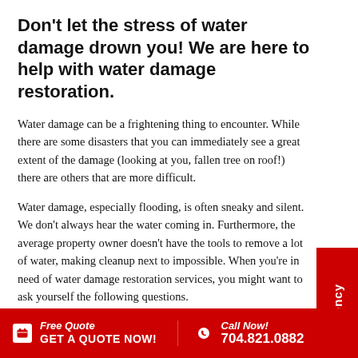Don't let the stress of water damage drown you! We are here to help with water damage restoration.
Water damage can be a frightening thing to encounter. While there are some disasters that you can immediately see a great extent of the damage (looking at you, fallen tree on roof!) there are others that are more difficult.
Water damage, especially flooding, is often sneaky and silent. We don't always hear the water coming in. Furthermore, the average property owner doesn't have the tools to remove a lot of water, making cleanup next to impossible. When you're in need of water damage restoration services, you might want to ask yourself the following questions.
Free Quote GET A QUOTE NOW! | Call Now! 704.821.0882